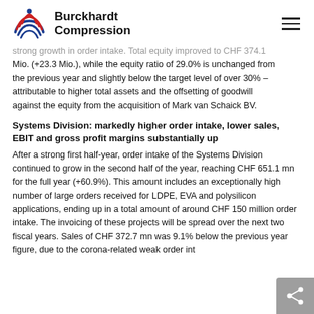Burckhardt Compression
strong growth in order intake. Total equity improved to CHF 374.1 Mio. (+23.3 Mio.), while the equity ratio of 29.0% is unchanged from the previous year and slightly below the target level of over 30% – attributable to higher total assets and the offsetting of goodwill against the equity from the acquisition of Mark van Schaick BV.
Systems Division: markedly higher order intake, lower sales, EBIT and gross profit margins substantially up
After a strong first half-year, order intake of the Systems Division continued to grow in the second half of the year, reaching CHF 651.1 mn for the full year (+60.9%). This amount includes an exceptionally high number of large orders received for LDPE, EVA and polysilicon applications, ending up in a total amount of around CHF 150 million order intake. The invoicing of these projects will be spread over the next two fiscal years. Sales of CHF 372.7 mn was 9.1% below the previous year figure, due to the corona-related weak order int